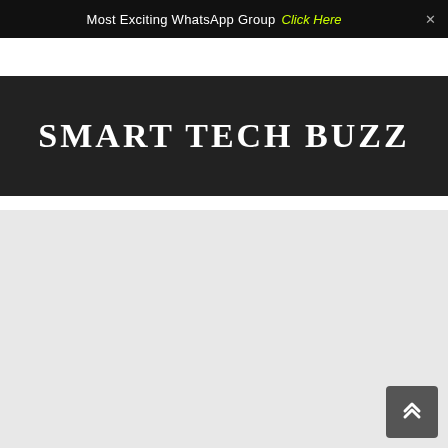Most Exciting WhatsApp Group  Click Here  ×
SMART TECH BUZZ
MENU